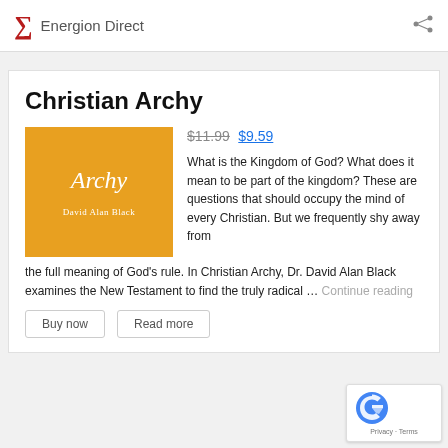Energion Direct
Christian Archy
[Figure (illustration): Book cover for Christian Archy by David Alan Black — orange/gold background with white serif text]
$11.99 $9.59
What is the Kingdom of God? What does it mean to be part of the kingdom? These are questions that should occupy the mind of every Christian. But we frequently shy away from the full meaning of God's rule. In Christian Archy, Dr. David Alan Black examines the New Testament to find the truly radical … Continue reading